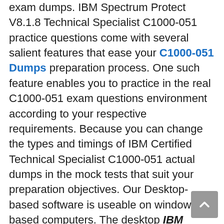exam dumps. IBM Spectrum Protect V8.1.8 Technical Specialist C1000-051 practice questions come with several salient features that ease your C1000-051 Dumps preparation process. One such feature enables you to practice in the real C1000-051 exam questions environment according to your respective requirements. Because you can change the types and timings of IBM Certified Technical Specialist C1000-051 actual dumps in the mock tests that suit your preparation objectives. Our Desktop-based software is useable on windows-based computers. The desktop IBM Spectrum Protect V8.1.8 Technical Specialist C1000-051 practice exam doesn't require active internet after the product license is validated. The windows-based C1000-051 practice test is readily available to download after the purchase. Our product support team is always